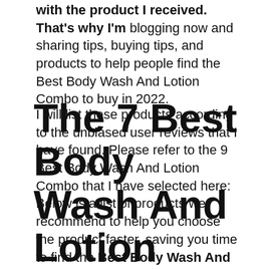with the product I received. That's why I'm blogging now and sharing tips, buying tips, and products to help people find the Best Body Wash And Lotion Combo to buy in 2022.
I will list these products according to the unbiased user reviews that I have found. Please refer to the 9 Best Body Wash And Lotion Combo that I have selected here: Below is a list of products we recommend to help you choose the product faster, saving you time to find the Best Body Wash And Lotion Combo.
The 7 Best Body Wash And Lotion